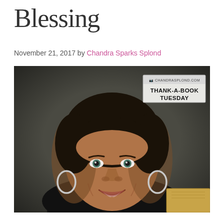Blessing
November 21, 2017 by Chandra Sparks Splond
[Figure (photo): Smiling woman with short dark hair and hoop earrings, wearing a dark top, photographed against a dark gray background. In the upper right corner of the image is a watermark badge reading 'CHANDRASPLOND.COM' and below it a label 'THANK-A-BOOK TUESDAY'. In the lower right corner is a partial view of what appears to be a book with a gold/tan cover.]